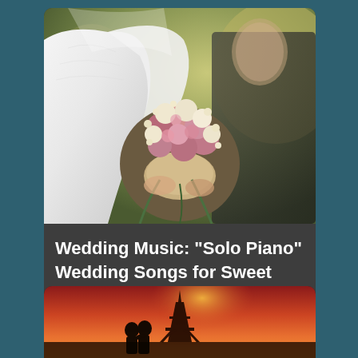[Figure (photo): Wedding photo showing bride in white dress holding a bouquet of pink and white roses, groom in dark suit visible blurred in background, outdoor setting with blurred greenery]
Wedding Music: "Solo Piano" Wedding Songs for Sweet an...
[Figure (photo): Romantic photo showing Eiffel Tower silhouette with couple embracing, dramatic orange and red sunset sky in background]